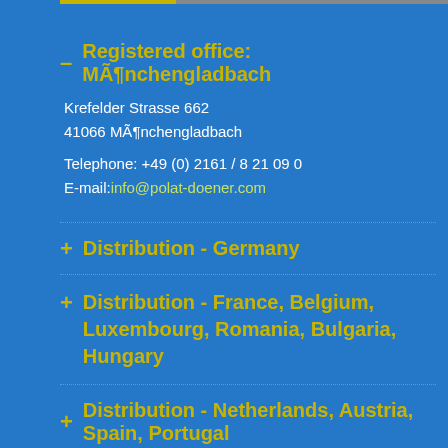– Registered office: MÃ¶nchengladbach
Krefelder Strasse 662
41066 MÃ¶nchengladbach
Telephone: +49 (0) 2161 / 8 21 09 0
E-mail:info@polat-doener.com
+ Distribution - Germany
+ Distribution - France, Belgium, Luxembourg, Romania, Bulgaria, Hungary
+ Distribution - Netherlands, Austria, Spain, Portugal